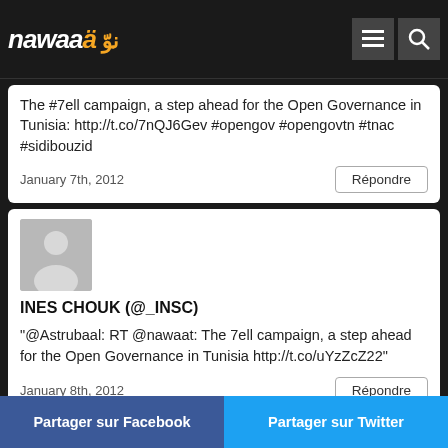nawaat
The #7ell campaign, a step ahead for the Open Governance in Tunisia: http://t.co/7nQJ6Gev #opengov #opengovtn #tnac #sidibouzid
January 7th, 2012
Répondre
INES CHOUK (@_INSC)
“@Astrubaal: RT @nawaat: The 7ell campaign, a step ahead for the Open Governance in Tunisia http://t.co/uYzZcZ22”
January 8th, 2012
Répondre
Partager sur Facebook
Partager sur Twitter